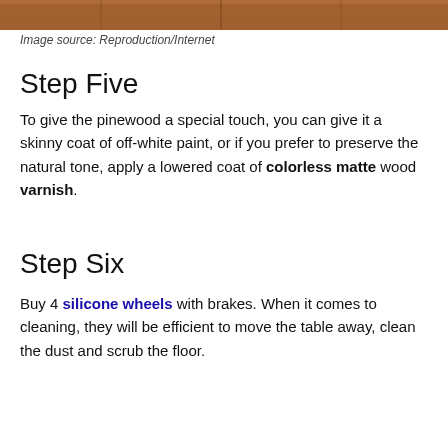[Figure (photo): Partial photo of pinewood surface with reddish-brown wood grain, cropped at top of page]
Image source: Reproduction/Internet
Step Five
To give the pinewood a special touch, you can give it a skinny coat of off-white paint, or if you prefer to preserve the natural tone, apply a lowered coat of colorless matte wood varnish.
Step Six
Buy 4 silicone wheels with brakes. When it comes to cleaning, they will be efficient to move the table away, clean the dust and scrub the floor.